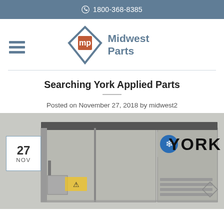1800-368-8385
[Figure (logo): Midwest Parts logo with diamond shape containing 'MP' icon and text 'Midwest Parts']
Searching York Applied Parts
Posted on November 27, 2018 by midwest2
[Figure (photo): Photo of a York brand commercial HVAC/applied parts unit — large grey rooftop air handling equipment with YORK branding visible on the side. A date badge showing '27 NOV' is overlaid on the lower left.]